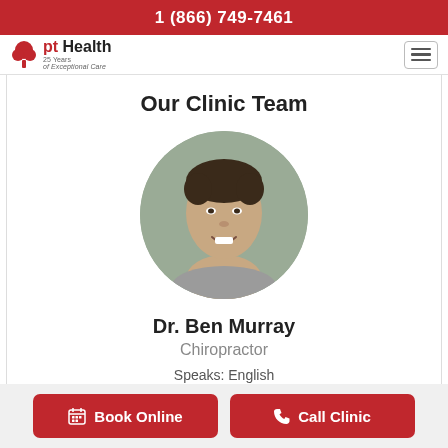1 (866) 749-7461
[Figure (logo): pt Health logo with red tree icon and text '25 Years of Exceptional Care']
Our Clinic Team
[Figure (photo): Circular headshot photo of Dr. Ben Murray, a young man with dark hair, smiling, against a grey-green background]
Dr. Ben Murray
Chiropractor
Speaks: English
Book Online
Call Clinic